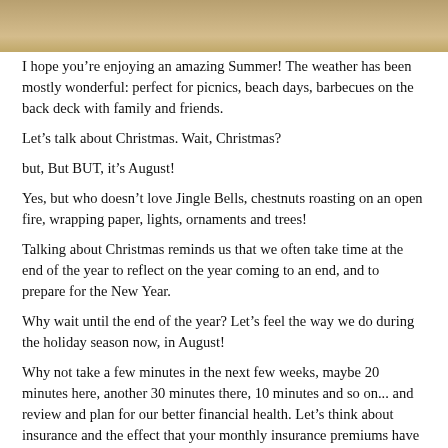[Figure (photo): Sandy/earthy textured background photo strip at top of page]
I hope you're enjoying an amazing Summer!  The weather has been mostly wonderful: perfect for picnics, beach days, barbecues on the back deck with family and friends.
Let's talk about Christmas.  Wait, Christmas?
but, But BUT, it's August!
Yes, but who doesn't love Jingle Bells, chestnuts roasting on an open fire, wrapping paper, lights, ornaments and trees!
Talking about Christmas reminds us that we often take time at the end of the year to reflect on the year coming to an end, and to prepare for the New Year.
Why wait until the end of the year?  Let's feel the way we do during the holiday season now, in August!
Why not take a few minutes in the next few weeks, maybe 20 minutes here, another 30 minutes there, 10 minutes and so on... and review and plan for our better financial health.  Let's think about insurance and the effect that your monthly insurance premiums have on your monthly budget.